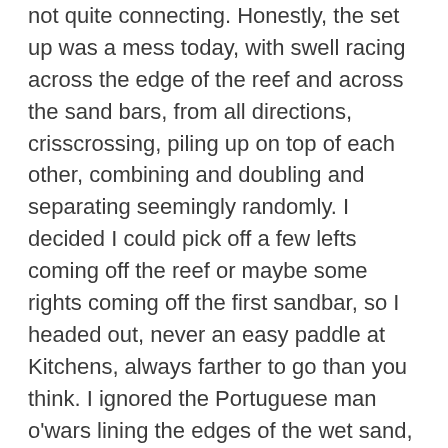not quite connecting. Honestly, the set up was a mess today, with swell racing across the edge of the reef and across the sand bars, from all directions, crisscrossing, piling up on top of each other, combining and doubling and separating seemingly randomly. I decided I could pick off a few lefts coming off the reef or maybe some rights coming off the first sandbar, so I headed out, never an easy paddle at Kitchens, always farther to go than you think. I ignored the Portuguese man o'wars lining the edges of the wet sand, feeling still protected by my tattoo and my wet suit top but also feeling silly for feeling that way.
[Figure (photo): No photo description available. (broken/missing image placeholder)]
Though the sets and wave directions were not orderly, every single ride was smooth as glass, surprisingly so.